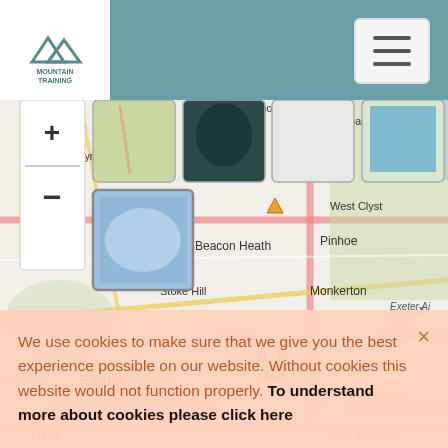[Figure (logo): Mountain Training logo - mountain peaks icon with text MOUNTAIN TRAINING]
[Figure (screenshot): OpenStreetMap showing Exeter area with locations: Stoke Canon, Broadclyst, West Clyst, Beacon Heath, Pinhoe, Stoke Hill, Monkerton, Clyst Honiton, Exeter Airport, Polsloe, Exeter, Heavitree, Middlemoor. Green location pin marker. Map layer switcher showing 5 tile options. Zoom +/- controls.]
We use cookies to make sure that we give you the best experience possible on our website. Without cookies this website would not function properly. To understand more about cookies please click here